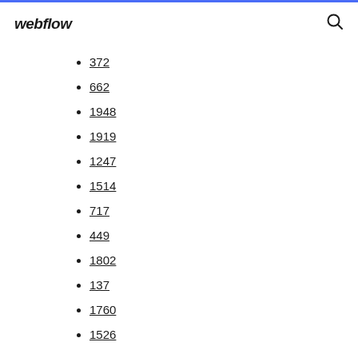webflow
372
662
1948
1919
1247
1514
717
449
1802
137
1760
1526